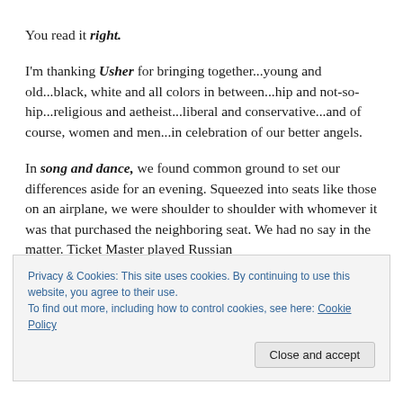You read it right.
I'm thanking Usher for bringing together...young and old...black, white and all colors in between...hip and not-so-hip...religious and aetheist...liberal and conservative...and of course, women and men...in celebration of our better angels.
In song and dance, we found common ground to set our differences aside for an evening. Squeezed into seats like those on an airplane, we were shoulder to shoulder with whomever it was that purchased the neighboring seat. We had no say in the matter. Ticket Master played Russian
Privacy & Cookies: This site uses cookies. By continuing to use this website, you agree to their use.
To find out more, including how to control cookies, see here: Cookie Policy
Close and accept